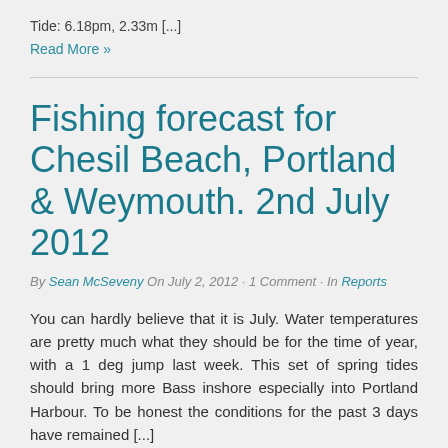Tide: 6.18pm, 2.33m [...]
Read More »
Fishing forecast for Chesil Beach, Portland & Weymouth. 2nd July 2012
By Sean McSeveny On July 2, 2012 · 1 Comment · In Reports
You can hardly believe that it is July. Water temperatures are pretty much what they should be for the time of year, with a 1 deg jump last week. This set of spring tides should bring more Bass inshore especially into Portland Harbour. To be honest the conditions for the past 3 days have remained [...]
Read More »